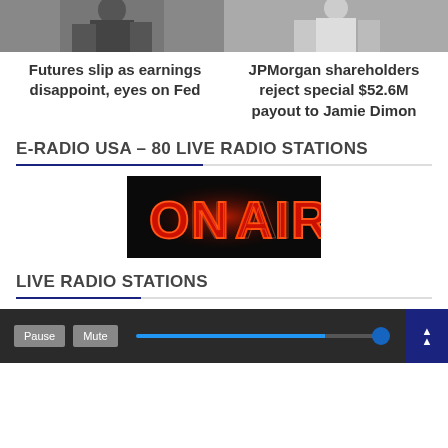[Figure (photo): Two people walking, dark clothing, left panel]
[Figure (photo): Person in light jacket, right panel]
Futures slip as earnings disappoint, eyes on Fed
JPMorgan shareholders reject special $52.6M payout to Jamie Dimon
E-RADIO USA – 80 LIVE RADIO STATIONS
[Figure (logo): ON AIR red glowing text on black background]
LIVE RADIO STATIONS
[Figure (screenshot): Radio player controls: Pause, Mute buttons and volume slider on dark background]